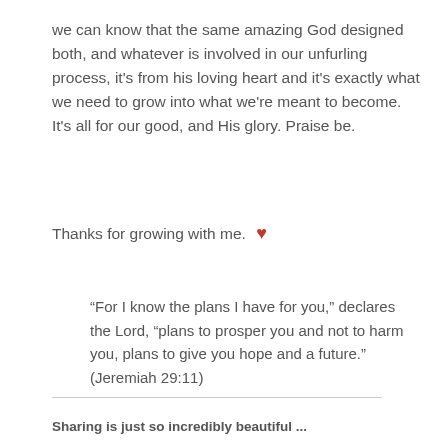we can know that the same amazing God designed both, and whatever is involved in our unfurling process, it's from his loving heart and it's exactly what we need to grow into what we're meant to become. It's all for our good, and His glory. Praise be.
Thanks for growing with me. ❤
“For I know the plans I have for you,” declares the Lord, “plans to prosper you and not to harm you, plans to give you hope and a future.” (Jeremiah 29:11)
Sharing is just so incredibly beautiful ...